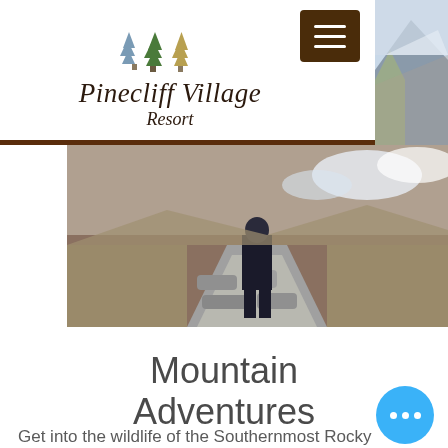[Figure (logo): Pinecliff Village Resort logo with three pine trees above stylized cursive text reading 'Pinecliff Village Resort']
[Figure (photo): Navigation hamburger menu button (brown/dark background with three white horizontal lines)]
[Figure (photo): Outdoor mountain/cloudy sky photo in top-right corner]
[Figure (photo): Hero banner photo showing a person standing on a rocky mountain trail path with dry grassy hillside landscape]
Mountain Adventures
Get into the wildlife of the Southernmost Rocky Mountains. Hiking, mountain biking, and horseback trails are abundant i... in to in from Pinecliff Vill...